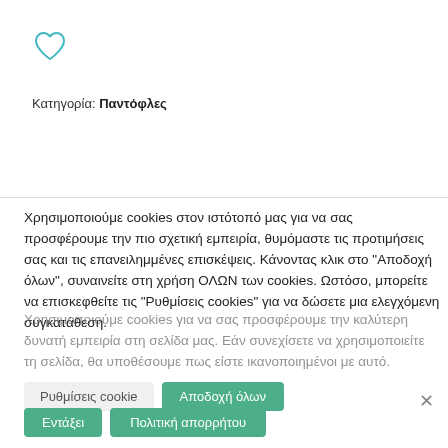[Figure (illustration): Heart/wishlist icon outline in teal color]
Κατηγορία: Παντόφλες
Χρησιμοποιούμε cookies στον ιστότοπό μας για να σας προσφέρουμε την πιο σχετική εμπειρία, θυμόμαστε τις προτιμήσεις σας και τις επανειλημμένες επισκέψεις. Κάνοντας κλικ στο "Αποδοχή όλων", συναινείτε στη χρήση ΟΛΩΝ των cookies. Ωστόσο, μπορείτε να επισκεφθείτε τις "Ρυθμίσεις cookies" για να δώσετε μια ελεγχόμενη συγκατάθεση.
Χρησιμοποιούμε cookies για να σας προσφέρουμε την καλύτερη δυνατή εμπειρία στη σελίδα μας. Εάν συνεχίσετε να χρησιμοποιείτε τη σελίδα, θα υποθέσουμε πως είστε ικανοποιημένοι με αυτό.
Ρυθμίσεις cookie   Αποδοχή όλων
Εντάξει   Πολιτική απορρήτου